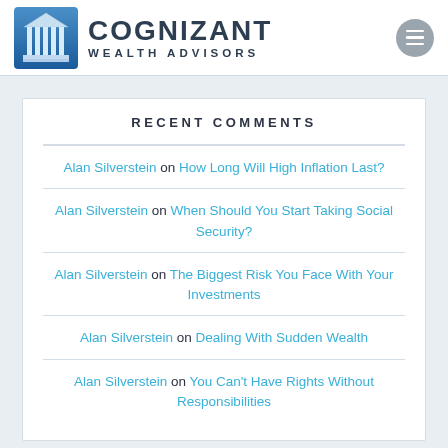[Figure (logo): Cognizant Wealth Advisors logo with column building icon and text]
RECENT COMMENTS
Alan Silverstein on How Long Will High Inflation Last?
Alan Silverstein on When Should You Start Taking Social Security?
Alan Silverstein on The Biggest Risk You Face With Your Investments
Alan Silverstein on Dealing With Sudden Wealth
Alan Silverstein on You Can't Have Rights Without Responsibilities